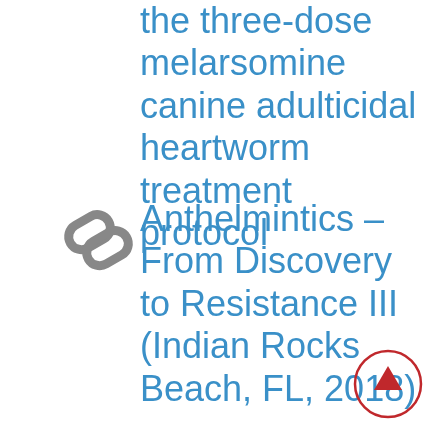the three-dose melarsomine canine adulticidal heartworm treatment protocol
[Figure (illustration): Chain link icon in gray]
Anthelmintics – From Discovery to Resistance III (Indian Rocks Beach, FL, 2018)